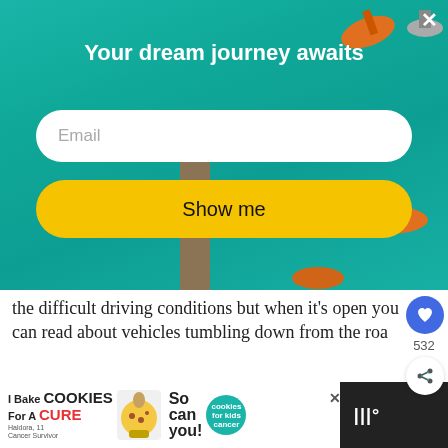[Figure (screenshot): Modal overlay on aerial teal water background with boats. Contains email signup form with title 'Your dream journey awaits', an email text field, and a yellow 'Show me' button. A close X button is in the top right.]
Your dream journey awaits
the difficult driving conditions but when it's open you can read about vehicles tumbling down from the roa
532
ADVERTISEMENT
WHAT'S NEXT → USA off the beaten track...
[Figure (screenshot): Teal advertisement banner with italic white text: 'It's time to talk about Alzheimer's']
[Figure (screenshot): Bottom banner ad: 'I Bake COOKIES For A CURE Haldora, 11 Cancer Survivor' with 'So can you!' text and cookies for kids cancer logo. A close button X is shown.]